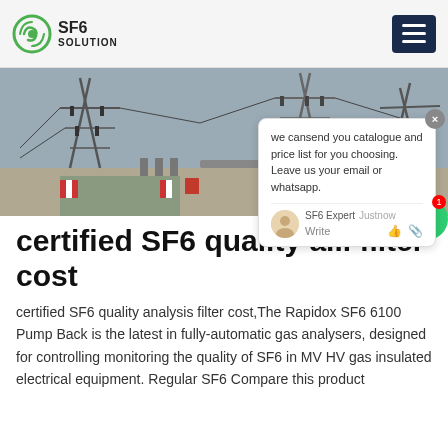SF6 SOLUTION
[Figure (photo): Electrical substation with high-voltage transmission towers, insulators, and metal framework under an overcast sky. A road with red and white barriers runs through the foreground.]
certified SF6 quality analysis filter cost
certified SF6 quality analysis filter cost,The Rapidox SF6 6100 Pump Back is the latest in fully-automatic gas analysers, designed for controlling monitoring the quality of SF6 in MV HV gas insulated electrical equipment. Regular SF6 Compare this product